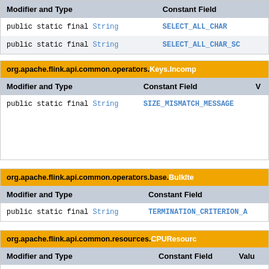| Modifier and Type | Constant Field |
| --- | --- |
| public static final String | SELECT_ALL_CHAR |
| public static final String | SELECT_ALL_CHAR_SC |
org.apache.flink.api.common.operators.Keys.Incomp
| Modifier and Type | Constant Field | V |
| --- | --- | --- |
| public static final String | SIZE_MISMATCH_MESSAGE |  |
org.apache.flink.api.common.operators.base.BulkIte
| Modifier and Type | Constant Field |
| --- | --- |
| public static final String | TERMINATION_CRITERION_A |
org.apache.flink.api.common.resources.CPUResourc
| Modifier and Type | Constant Field | Valu |
| --- | --- | --- |
| public static final String | NAME | "CPU |